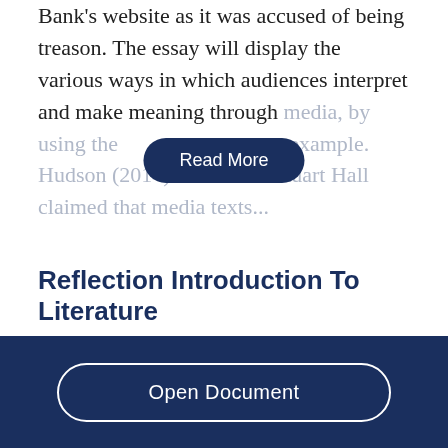Bank's website as it was accused of being treason. The essay will display the various ways in which audiences interpret and make meaning through media, by using the [Read More] as an example. Hudson (2014) states that 'Stuart Hall claimed that media texts...
Reflection Introduction To Literature
1672 Words  | 7 Pages
Open Document